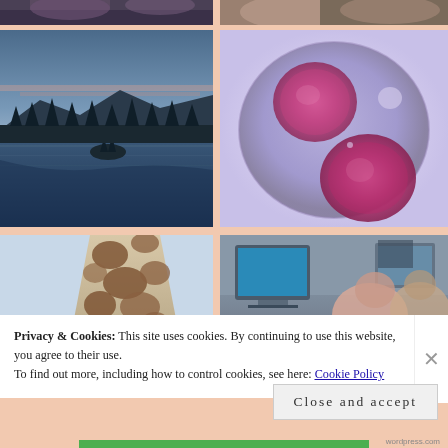[Figure (photo): Partial photo at top left, dark tones, appears to be a person or animal cropped]
[Figure (photo): Partial photo at top right, person or portrait, cropped at top]
[Figure (photo): Lake Tahoe at dusk/dawn, calm water with forested island and mountains, blue tones]
[Figure (photo): Microscopy image of a cell dividing, purple/pink large nuclei visible on lavender background]
[Figure (photo): Close-up of a giraffe neck and body showing brown patch pattern against light background]
[Figure (photo): Office or home setting with computer monitor and blurred figures]
Privacy & Cookies: This site uses cookies. By continuing to use this website, you agree to their use.
To find out more, including how to control cookies, see here: Cookie Policy
Close and accept